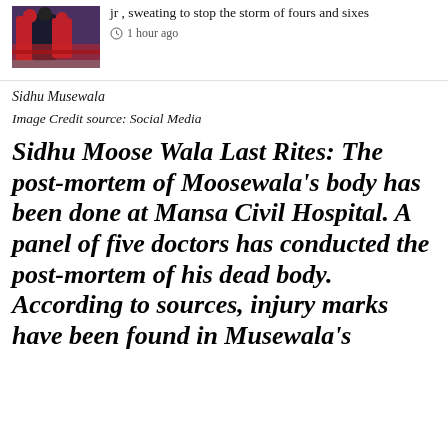[Figure (photo): Photo of two people in sportswear, one in red and one in dark jacket, with a bus in background]
jr , sweating to stop the storm of fours and sixes
1 hour ago
Sidhu Musewala
Image Credit source: Social Media
Sidhu Moose Wala Last Rites: The post-mortem of Moosewala’s body has been done at Mansa Civil Hospital. A panel of five doctors has conducted the post-mortem of his dead body. According to sources, injury marks have been found in Musewala’s